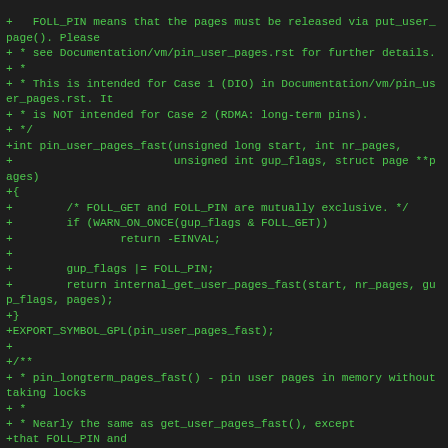+ * FOLL_PIN means that the pages must be released via put_user_page(). Please
+ * see Documentation/vm/pin_user_pages.rst for further details.
+ *
+ * This is intended for Case 1 (DIO) in Documentation/vm/pin_user_pages.rst. It
+ * is NOT intended for Case 2 (RDMA: long-term pins).
+ */
+int pin_user_pages_fast(unsigned long start, int nr_pages,
+                        unsigned int gup_flags, struct page **pages)
+{
+        /* FOLL_GET and FOLL_PIN are mutually exclusive. */
+        if (WARN_ON_ONCE(gup_flags & FOLL_GET))
+                return -EINVAL;
+
+        gup_flags |= FOLL_PIN;
+        return internal_get_user_pages_fast(start, nr_pages, gup_flags, pages);
+}
+EXPORT_SYMBOL_GPL(pin_user_pages_fast);
+
+/**
+ * pin_longterm_pages_fast() - pin user pages in memory without taking locks
+ *
+ * Nearly the same as get_user_pages_fast(), except
+that FOLL_PIN and